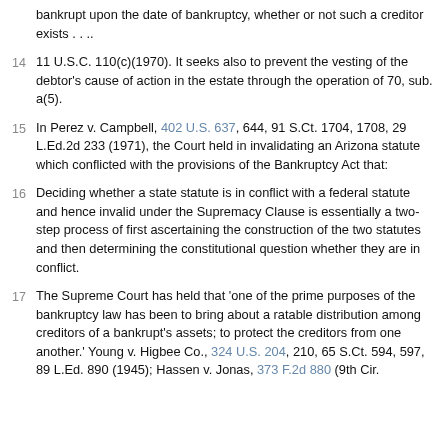bankrupt upon the date of bankruptcy, whether or not such a creditor exists . . ..
14  11 U.S.C. 110(c)(1970). It seeks also to prevent the vesting of the debtor's cause of action in the estate through the operation of 70, sub. a(5).
15  In Perez v. Campbell, 402 U.S. 637, 644, 91 S.Ct. 1704, 1708, 29 L.Ed.2d 233 (1971), the Court held in invalidating an Arizona statute which conflicted with the provisions of the Bankruptcy Act that:
16  Deciding whether a state statute is in conflict with a federal statute and hence invalid under the Supremacy Clause is essentially a two-step process of first ascertaining the construction of the two statutes and then determining the constitutional question whether they are in conflict.
17  The Supreme Court has held that 'one of the prime purposes of the bankruptcy law has been to bring about a ratable distribution among creditors of a bankrupt's assets; to protect the creditors from one another.' Young v. Higbee Co., 324 U.S. 204, 210, 65 S.Ct. 594, 597, 89 L.Ed. 890 (1945); Hassen v. Jonas, 373 F.2d 880 (9th Cir.